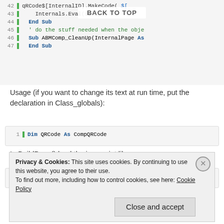[Figure (screenshot): Code block showing lines 42-47 of VBA/Basic code with Sub and End Sub keywords, in a syntax-highlighted editor view]
BACK TO TOP
Usage (if you want to change its text at run time, put the declaration in Class_globals):
[Figure (screenshot): Code block line 1: Dim QRCode As CompQRCode]
In BuildPage() load the javascript library:
[Figure (screenshot): Code block line 1: page.AddExtraJavaScriptFile("custom/...]
In ConnectPage():
Privacy & Cookies: This site uses cookies. By continuing to use this website, you agree to their use. To find out more, including how to control cookies, see here: Cookie Policy
Close and accept